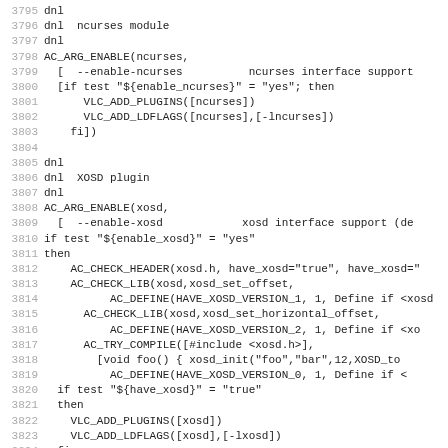Code listing lines 3795-3826: autoconf/configure.ac script snippet for ncurses and XOSD plugin configuration